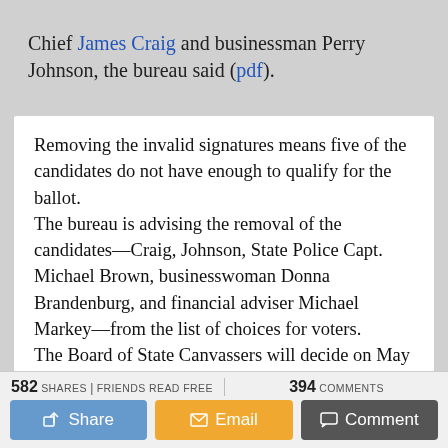Chief James Craig and businessman Perry Johnson, the bureau said (pdf).
Removing the invalid signatures means five of the candidates do not have enough to qualify for the ballot.
The bureau is advising the removal of the candidates—Craig, Johnson, State Police Capt. Michael Brown, businesswoman Donna Brandenburg, and financial adviser Michael Markey—from the list of choices for voters.
The Board of State Canvassers will decide on May 26
582 SHARES | FRIENDS READ FREE   394 COMMENTS